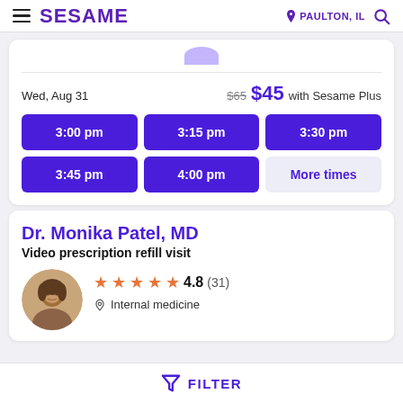SESAME — PAULTON, IL
Wed, Aug 31   $65  $45 with Sesame Plus
3:00 pm  3:15 pm  3:30 pm  3:45 pm  4:00 pm  More times
Dr. Monika Patel, MD
Video prescription refill visit
4.8 (31)  Internal medicine
FILTER